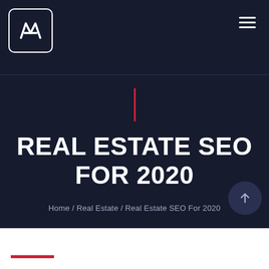MWM logo and navigation header
REAL ESTATE SEO FOR 2020
Home / Real Estate / Real Estate SEO For 2020